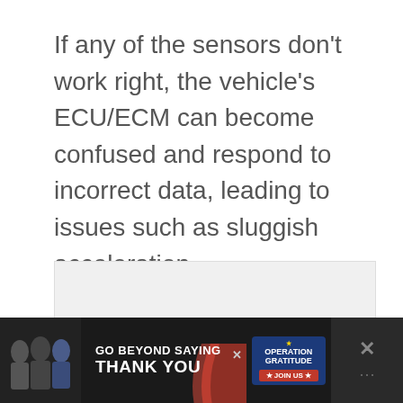If any of the sensors don't work right, the vehicle's ECU/ECM can become confused and respond to incorrect data, leading to issues such as sluggish acceleration.
[Figure (photo): Empty light gray image placeholder box]
[Figure (infographic): Advertisement banner: dark background with photo of people in uniform, text 'GO BEYOND SAYING THANK YOU' with Operation Gratitude logo and 'JOIN US' button, close button X, and menu icon on right]